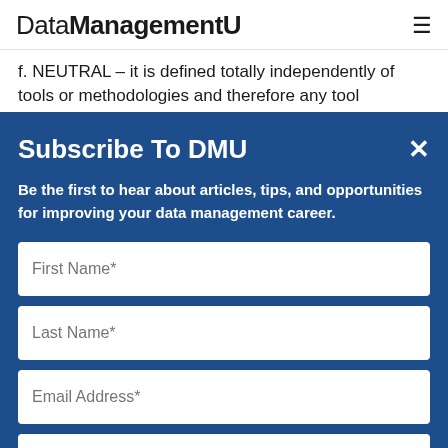DataManagementU
f. NEUTRAL – it is defined totally independently of tools or methodologies and therefore any tool
Subscribe To DMU
Be the first to hear about articles, tips, and opportunities for improving your data management career.
First Name*
Last Name*
Email Address*
SEND